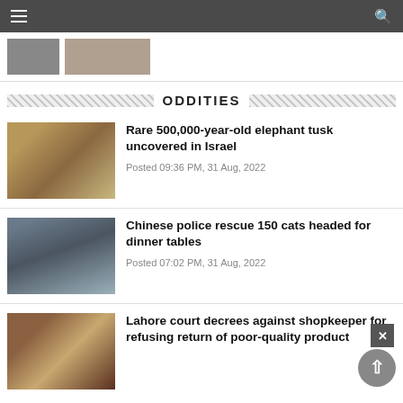Navigation bar with hamburger menu and search icon
[Figure (photo): Partial thumbnail images strip at the top]
ODDITIES
[Figure (photo): People excavating at an archaeological dig site in Israel]
Rare 500,000-year-old elephant tusk uncovered in Israel
Posted 09:36 PM, 31 Aug, 2022
[Figure (photo): Cats behind metal cage bars]
Chinese police rescue 150 cats headed for dinner tables
Posted 07:02 PM, 31 Aug, 2022
[Figure (photo): Judge's gavel on a wooden surface in a courtroom]
Lahore court decrees against shopkeeper for refusing return of poor-quality product